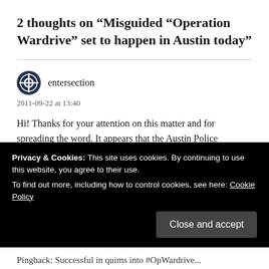2 thoughts on “Misguided “Operation Wardrive” set to happen in Austin today”
entersection
2011-09-22 at 13:40
Hi! Thanks for your attention on this matter and for spreading the word. It appears that the Austin Police Department has canceled or postponed "Operation Wardrive" at the last minute. We're waiting on a
Privacy & Cookies: This site uses cookies. By continuing to use this website, you agree to their use.
To find out more, including how to control cookies, see here: Cookie Policy
Pingback: Successful in quims into #OpWardrive...